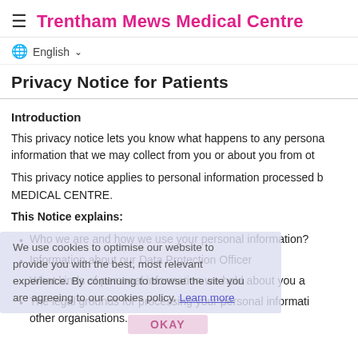Trentham Mews Medical Centre
English
Privacy Notice for Patients
Introduction
This privacy notice lets you know what happens to any personal information that we may collect from you or about you from ot...
This privacy notice applies to personal information processed by TRENTHAM MEWS MEDICAL CENTRE.
This Notice explains:
Who we are and how we use your personal information?
Information about our Data Protection Officer
What kinds of personal information we hold about you a...
The legal grounds for processing your personal information... other organisations.